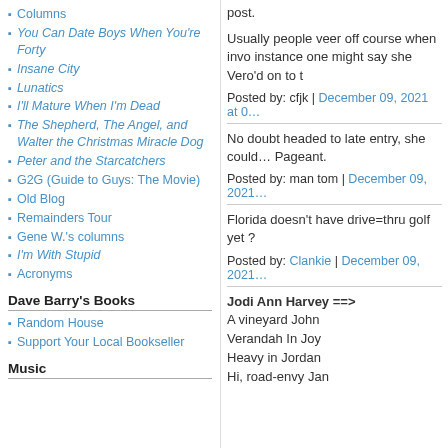Columns
You Can Date Boys When You're Forty
Insane City
Lunatics
I'll Mature When I'm Dead
The Shepherd, The Angel, and Walter the Christmas Miracle Dog
Peter and the Starcatchers
G2G (Guide to Guys: The Movie)
Old Blog
Remainders Tour
Gene W.'s columns
I'm With Stupid
Acronyms
Dave Barry's Books
Random House
Support Your Local Bookseller
Music
post.
Usually people veer off course when invo... instance one might say she Vero'd on to t...
Posted by: cfjk | December 09, 2021 at 0...
No doubt headed to late entry, she could ... Pageant.
Posted by: man tom | December 09, 2021...
Florida doesn't have drive=thru golf yet ?
Posted by: Clankie | December 09, 2021 ...
Jodi Ann Harvey ==>
A vineyard John
Verandah In Joy
Heavy in Jordan
Hi, road-envy Jan